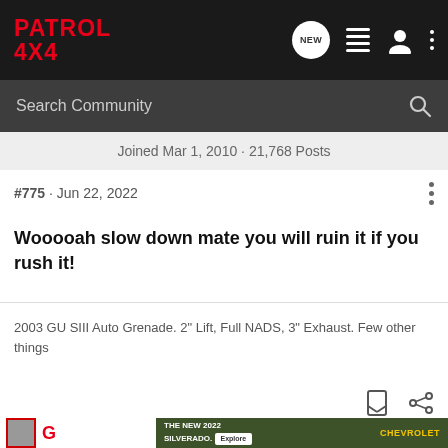PATROL 4X4
Search Community
Joined Mar 1, 2010 · 21,768 Posts
#775 · Jun 22, 2022
Wooooah slow down mate you will ruin it if you rush it!
2003 GU SIII Auto Grenade. 2" Lift, Full NADS, 3" Exhaust. Few other things
[Figure (screenshot): Chevrolet Silverado 2022 advertisement banner with text 'THE NEW 2022 SILVERADO.' and 'Explore' button, showing a dark truck in a forest setting with Chevrolet logo]